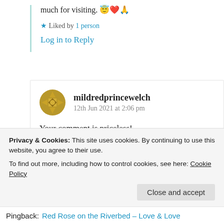much for visiting. 😇❤️🙏
★ Liked by 1 person
Log in to Reply
[Figure (illustration): Circular avatar icon with gold geometric pattern for user mildredprincewelch]
mildredprincewelch
12th Jun 2021 at 2:06 pm
Your comment is priceless!
Privacy & Cookies: This site uses cookies. By continuing to use this website, you agree to their use.
To find out more, including how to control cookies, see here: Cookie Policy
Close and accept
Pingback: Red Rose on the Riverbed – Love & Love